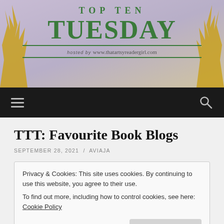[Figure (illustration): Top Ten Tuesday banner with illustrated trees on sides, purple/beige background, green serif text reading 'TOP TEN TUESDAY', hosted by www.thatartsyreadergirl.com]
Navigation bar with hamburger menu icon and search icon on black background
TTT: Favourite Book Blogs
SEPTEMBER 28, 2021 / AVIAJA
Privacy & Cookies: This site uses cookies. By continuing to use this website, you agree to their use.
To find out more, including how to control cookies, see here: Cookie Policy
[Close and accept]